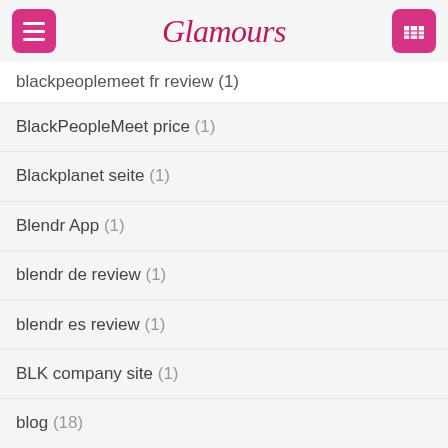Glamours
blackpeoplemeet fr review (1)
BlackPeopleMeet price (1)
Blackplanet seite (1)
Blendr App (1)
blendr de review (1)
blendr es review (1)
BLK company site (1)
blog (18)
blued es review (1)
blued fr reviews (1)
blued it reviews (1)